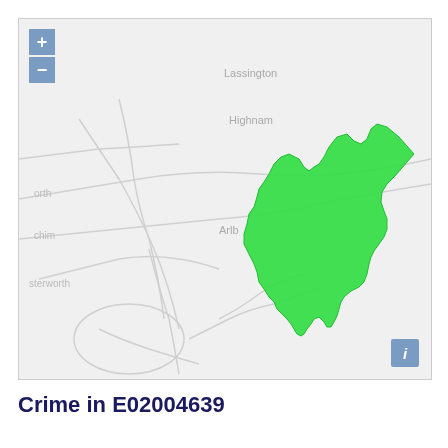[Figure (map): Interactive map showing a highlighted green region (E02004639) overlaid on a grey street/place-name map background. The highlighted area is an irregular polygon in bright green located roughly in the centre-right of the map. Place names visible include Lassington, Highnam, Arlb, sterworth. Zoom in (+) and zoom out (-) controls are shown in the top-left corner of the map, and an info (i) button is in the bottom-right corner.]
Crime in E02004639